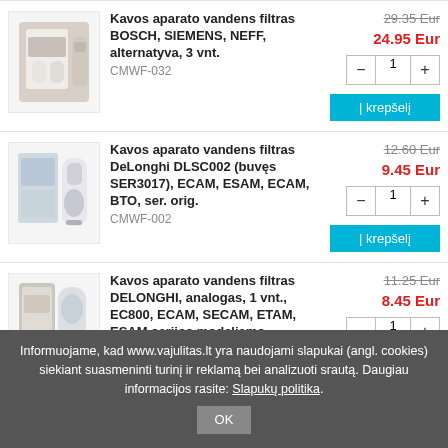[Figure (photo): Product image: Kavos aparato vandens filtras BOSCH SIEMENS NEFF 3-pack box]
Kavos aparato vandens filtras BOSCH, SIEMENS, NEFF, alternatyva, 3 vnt.
CMWF-032
29.35 Eur (strikethrough)
24.95 Eur
[Figure (photo): Product image: Kavos aparato vandens filtras DeLonghi DLSC002 filter and liquid bottle]
Kavos aparato vandens filtras DeLonghi DLSC002 (buvęs SER3017), ECAM, ESAM, ECAM, BTO, ser. orig.
CMWF-002
12.60 Eur (strikethrough)
9.45 Eur
[Figure (photo): Product image: Kavos aparato vandens filtras DELONGHI analogas filter bottle]
Kavos aparato vandens filtras DELONGHI, analogas, 1 vnt., EC800, ECAM, SECAM, ETAM, ESAM serijos modeliams
CMWF-028
11.25 Eur (strikethrough)
8.45 Eur
Informuojame, kad www.vajulitas.lt yra naudojami slapukai (angl. cookies) siekiant suasmeninti turinį ir reklamą bei analizuoti srautą. Daugiau informacijos rasite: Slapukų politika.